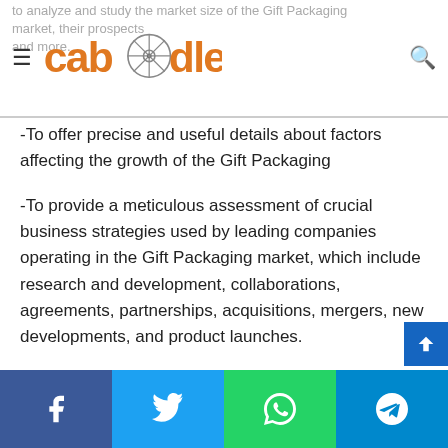caboodle
-To offer precise and useful details about factors affecting the growth of the Gift Packaging
-To provide a meticulous assessment of crucial business strategies used by leading companies operating in the Gift Packaging market, which include research and development, collaborations, agreements, partnerships, acquisitions, mergers, new developments, and product launches.
Read Detailed Index of full Research Study at @ https://www.advancemarketanalytics.com/reports/60357-global-gift-packaging-market